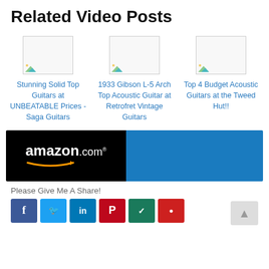Related Video Posts
[Figure (other): Thumbnail image placeholder for 'Stunning Solid Top Guitars at UNBEATABLE Prices - Saga Guitars']
Stunning Solid Top Guitars at UNBEATABLE Prices - Saga Guitars
[Figure (other): Thumbnail image placeholder for '1933 Gibson L-5 Arch Top Acoustic Guitar at Retrofret Vintage Guitars']
1933 Gibson L-5 Arch Top Acoustic Guitar at Retrofret Vintage Guitars
[Figure (other): Thumbnail image placeholder for 'Top 4 Budget Acoustic Guitars at the Tweed Hut!!']
Top 4 Budget Acoustic Guitars at the Tweed Hut!!
[Figure (other): Amazon.com advertisement banner with black left half showing Amazon logo and blue right half]
Please Give Me A Share!